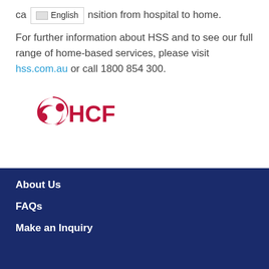ca...nsition from hospital to home.
For further information about HSS and to see our full range of home-based services, please visit hss.com.au or call 1800 854 300.
[Figure (logo): HCF logo with red swirling icon and bold red HCF text]
About Us
FAQs
Make an Inquiry